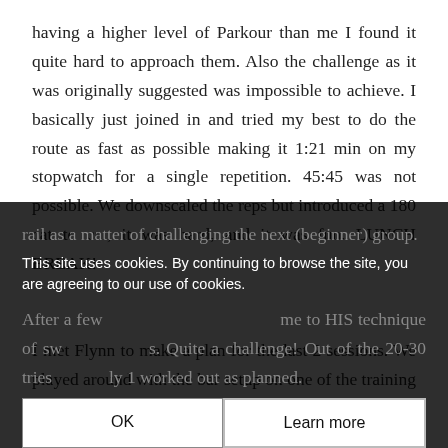having a higher level of Parkour than me I found it quite hard to approach them. Also the challenge as it was originally suggested was impossible to achieve. I basically just joined in and tried my best to do the route as fast as possible making it 1:21 min on my stopwatch for a single repetition. 45:45 was not possible. We downscaled the reps but introduced a 180 cat to cat, it was hard, and it was fun. LUNCH BREAK!

I met Flynn to make a plan for the last 2 sessions. We played around with the bar setup on one of the training areas and I introduced the idea of switching places on a rail as a matter of challenging the next (beginner) group. After a few minutes Flynn showed me to HIS technique of sw...s. Quite a challenge! Out of the 20-30 tries...ly 1 worked out as planned. The only an...
This site uses cookies. By continuing to browse the site, you are agreeing to our use of cookies.